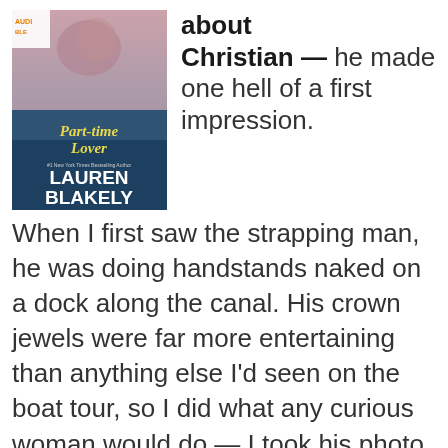[Figure (illustration): Book cover of 'Part-time Lover' by Lauren Blakely, showing two people embracing, with an Audible badge in the corner. The title is in cursive yellow text and the author name is in large white block letters.]
about Christian — he made one hell of a first impression.
When I first saw the strapping man, he was doing handstands naked on a dock along the canal. His crown jewels were far more entertaining than anything else I'd seen on the boat tour, so I did what any curious woman would do — I took his photo. I